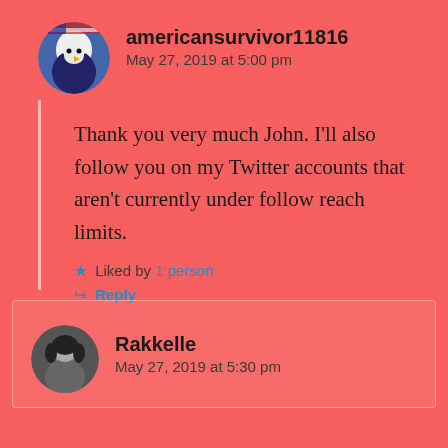americansurvivor11816
May 27, 2019 at 5:00 pm
Thank you very much John. I'll also follow you on my Twitter accounts that aren't currently under follow reach limits.
Liked by 1 person
Reply
Rakkelle
May 27, 2019 at 5:30 pm